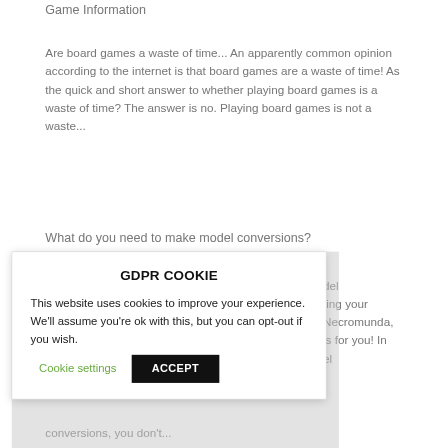Game Information
Are board games a waste of time... An apparently common opinion according to the internet is that board games are a waste of time! As the quick and short answer to whether playing board games is a waste of time? The answer is no. Playing board games is not a waste...
What do you need to make model conversions?
GDPR COOKIE
This website uses cookies to improve your experience. We'll assume you're ok with this, but you can opt-out if you wish. Cookie settings ACCEPT
del
ting your
Necromunda,
is for you! In
el
conversions, you don't...